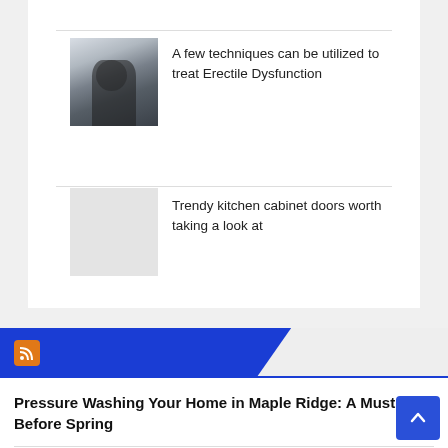[Figure (photo): Person sitting with head in hand, appearing distressed, dark clothing, window light]
A few techniques can be utilized to treat Erectile Dysfunction
Trendy kitchen cabinet doors worth taking a look at
[Figure (logo): RSS feed icon - orange square with white RSS symbol]
Pressure Washing Your Home in Maple Ridge: A Must Before Spring
Adjusting to life in Retirement or Spring Ca...